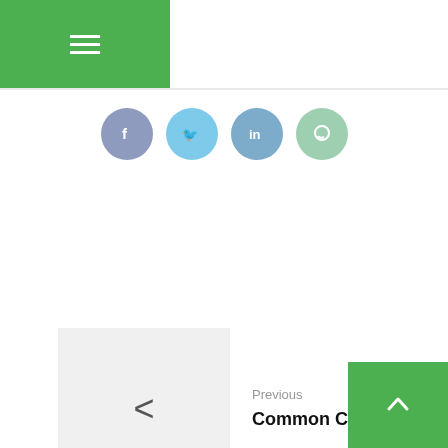Menu
[Figure (infographic): Social media share icons: Facebook (purple-grey), Twitter (light blue), LinkedIn (blue), WhatsApp (green)]
Previous
Common Catalysts
Next
Sales and supply of OEM filters for gas and diesel engines